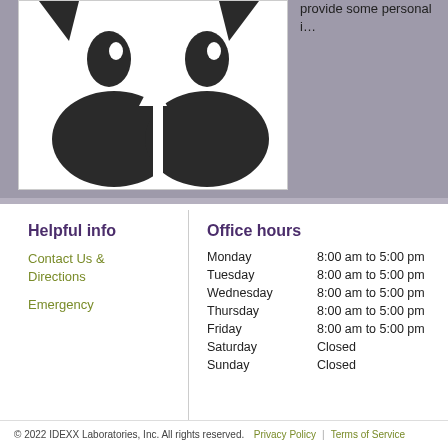[Figure (illustration): Partial view of a cat or animal face silhouette (black on white background), showing eyes and nose/mouth area, framed in a white bordered box.]
provide some personal i…
Helpful info
Contact Us & Directions
Emergency
Office hours
| Day | Hours |
| --- | --- |
| Monday | 8:00 am to 5:00 pm |
| Tuesday | 8:00 am to 5:00 pm |
| Wednesday | 8:00 am to 5:00 pm |
| Thursday | 8:00 am to 5:00 pm |
| Friday | 8:00 am to 5:00 pm |
| Saturday | Closed |
| Sunday | Closed |
© 2022 IDEXX Laboratories, Inc. All rights reserved. Privacy Policy | Terms of Service